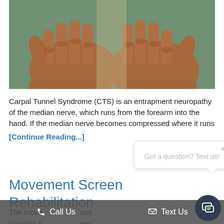[Figure (photo): Two hands held out palm-up, appearing to show symptoms of carpal tunnel syndrome, with a warm brownish-orange filter applied.]
Carpal Tunnel Syndrome (CTS) is an entrapment neuropathy of the median nerve, which runs from the forearm into the hand. If the median nerve becomes compressed where it runs
[Continue Reading...]
Movement Screen Rehabilitation
The move ons muscles s ner